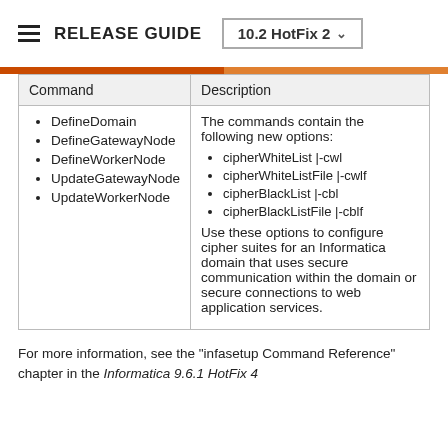RELEASE GUIDE  10.2 HotFix 2
| Command | Description |
| --- | --- |
| DefineDomain
DefineGatewayNode
DefineWorkerNode
UpdateGatewayNode
UpdateWorkerNode | The commands contain the following new options:
cipherWhiteList |-cwl
cipherWhiteListFile |-cwlf
cipherBlackList |-cbl
cipherBlackListFile |-cblf
Use these options to configure cipher suites for an Informatica domain that uses secure communication within the domain or secure connections to web application services. |
For more information, see the "infasetup Command Reference" chapter in the Informatica 9.6.1 HotFix 4